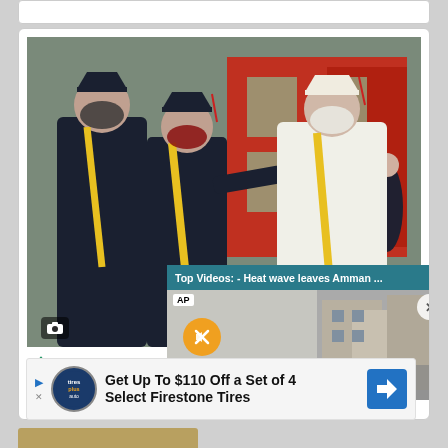[Figure (photo): Graduation ceremony photo showing students in caps and gowns and face masks, with two graduates in the foreground bumping fists. One wears dark navy gown with yellow sash, the other wears white gown with yellow sash. Red building visible in background.]
Tecumseh High Sc…
[Figure (screenshot): Top Videos popup overlay showing 'Top Videos: - Heat wave leaves Amman ...' with AP logo, mute button, and HEAT WAVE text over a street scene thumbnail.]
[Figure (screenshot): Advertisement banner: 'Get Up To $110 Off a Set of 4 Select Firestone Tires' with Tires Plus Auto logo and navigation arrow icon.]